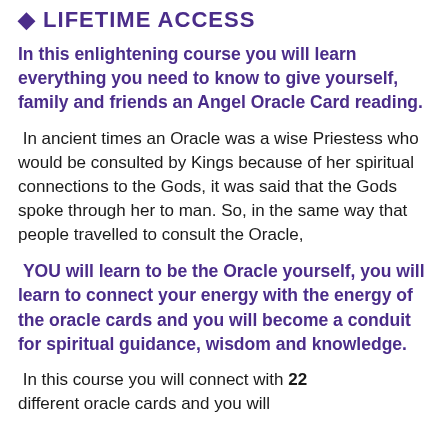LIFETIME ACCESS
In this enlightening course you will learn everything you need to know to give yourself, family and friends an Angel Oracle Card reading.
In ancient times an Oracle was a wise Priestess who would be consulted by Kings because of her spiritual connections to the Gods, it was said that the Gods spoke through her to man. So, in the same way that people travelled to consult the Oracle,
YOU will learn to be the Oracle yourself, you will learn to connect your energy with the energy of the oracle cards and you will become a conduit for spiritual guidance, wisdom and knowledge.
In this course you will connect with 22 different oracle cards and you will